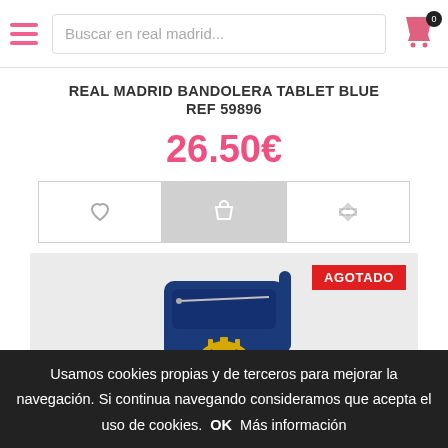Buscar en real madrid...
REAL MADRID BANDOLERA TABLET BLUE REF 59896
26.50€
[Figure (screenshot): Product action buttons: heart (wishlist), basket (add to cart, highlighted in grey), and share/compare icon]
[Figure (photo): Product image of a navy blue Real Madrid tablet bandolera/crossbody bag with Real Madrid crest, with AGOTADO (out of stock) red badge in top right]
Usamos cookies propias y de terceros para mejorar la navegación. Si continua navegando consideramos que acepta el uso de cookies. OK Más información